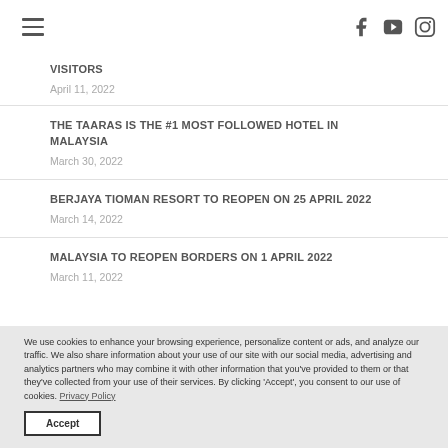Navigation header with hamburger menu and social icons (Facebook, YouTube, Instagram)
VISITORS
April 11, 2022
THE TAARAS IS THE #1 MOST FOLLOWED HOTEL IN MALAYSIA
March 30, 2022
BERJAYA TIOMAN RESORT TO REOPEN ON 25 APRIL 2022
March 14, 2022
MALAYSIA TO REOPEN BORDERS ON 1 APRIL 2022
March 11, 2022
We use cookies to enhance your browsing experience, personalize content or ads, and analyze our traffic. We also share information about your use of our site with our social media, advertising and analytics partners who may combine it with other information that you've provided to them or that they've collected from your use of their services. By clicking 'Accept', you consent to our use of cookies. Privacy Policy
Accept